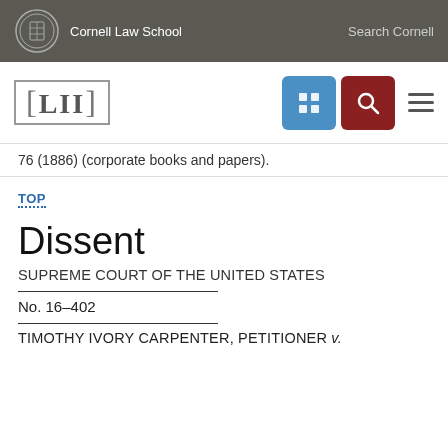Cornell Law School   Search Cornell
[Figure (logo): LII Legal Information Institute logo and navigation bar with blue grid icon and red search icon]
76 (1886) (corporate books and papers).
TOP
Dissent
SUPREME COURT OF THE UNITED STATES
No. 16–402
TIMOTHY IVORY CARPENTER, PETITIONER v.